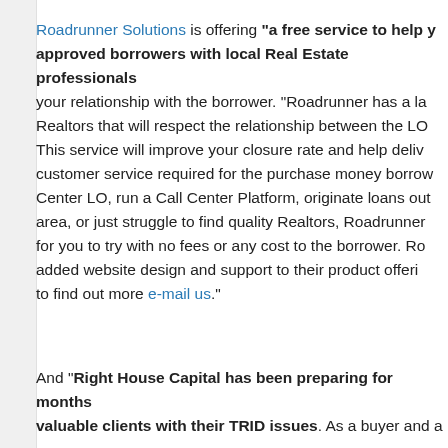Roadrunner Solutions is offering "a free service to help y... approved borrowers with local Real Estate professionals... your relationship with the borrower. "Roadrunner has a la... Realtors that will respect the relationship between the LO... This service will improve your closure rate and help deliv... customer service required for the purchase money borrow... Center LO, run a Call Center Platform, originate loans out... area, or just struggle to find quality Realtors, Roadrunner... for you to try with no fees or any cost to the borrower. Ro... added website design and support to their product offeri... to find out more e-mail us."
And "Right House Capital has been preparing for months... valuable clients with their TRID issues. As a buyer and a...